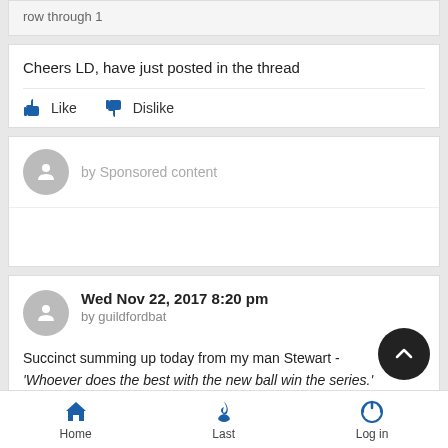row through 1
Cheers LD, have just posted in the thread
Like   Dislike
by Sponsored content
Wed Nov 22, 2017 8:20 pm
by guildfordbat
Succinct summing up today from my man Stewart - 'Whoever does the best with the new ball win the series.'
Home   Last   Log in